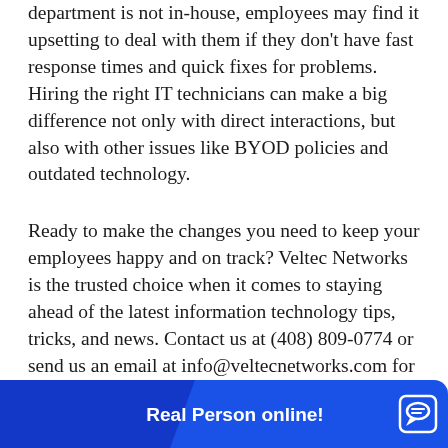department is not in-house, employees may find it upsetting to deal with them if they don't have fast response times and quick fixes for problems. Hiring the right IT technicians can make a big difference not only with direct interactions, but also with other issues like BYOD policies and outdated technology.
Ready to make the changes you need to keep your employees happy and on track? Veltec Networks is the trusted choice when it comes to staying ahead of the latest information technology tips, tricks, and news. Contact us at (408) 809-0774 or send us an email at info@veltecnetworks.com for more information.
[Figure (screenshot): Blue chat widget bar at the bottom of the page with 'Real Person online!' text in bold white and a white chat bubble icon on the right.]